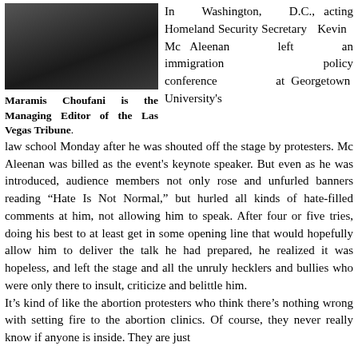[Figure (photo): Portrait photo of Maramis Choufani, Managing Editor of the Las Vegas Tribune]
Maramis Choufani is the Managing Editor of the Las Vegas Tribune.
In Washington, D.C., acting Homeland Security Secretary Kevin Mc Aleenan left an immigration policy conference at Georgetown University's law school Monday after he was shouted off the stage by protesters. Mc Aleenan was billed as the event's keynote speaker. But even as he was introduced, audience members not only rose and unfurled banners reading “Hate Is Not Normal,” but hurled all kinds of hate-filled comments at him, not allowing him to speak. After four or five tries, doing his best to at least get in some opening line that would hopefully allow him to deliver the talk he had prepared, he realized it was hopeless, and left the stage and all the unruly hecklers and bullies who were only there to insult, criticize and belittle him. It’s kind of like the abortion protesters who think there’s nothing wrong with setting fire to the abortion clinics. Of course, they never really know if anyone is inside. They are just